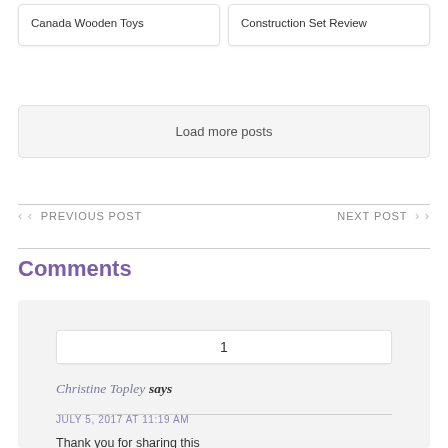Canada Wooden Toys
Construction Set Review
Load more posts
‹ ‹  PREVIOUS POST
NEXT POST  › ›
Comments
1
Christine Topley says
JULY 5, 2017 AT 11:19 AM
Thank you for sharing this...